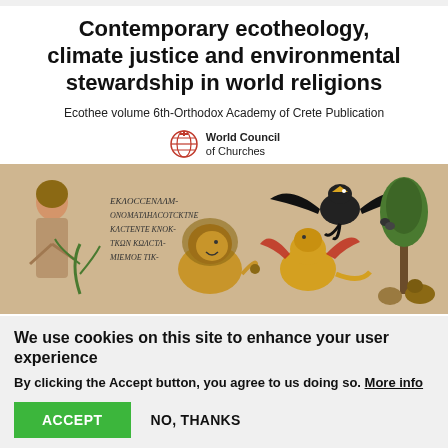Contemporary ecotheology, climate justice and environmental stewardship in world religions
Ecothee volume 6th-Orthodox Academy of Crete Publication
[Figure (logo): World Council of Churches logo with globe and cross icon, and text 'World Council of Churches']
[Figure (illustration): Medieval illuminated manuscript illustration showing a figure, a lion, a dragon, a large black eagle/bird, trees, and other animals with Greek or Slavonic text inscriptions on the left side.]
We use cookies on this site to enhance your user experience
By clicking the Accept button, you agree to us doing so. More info
ACCEPT
NO, THANKS